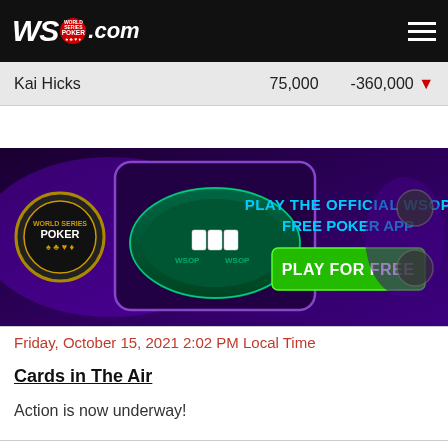WSOP.com
| Player | Stack | Change |
| --- | --- | --- |
| Kai Hicks | 75,000 | -360,000 |
[Figure (illustration): WSOP Free Poker App advertisement banner showing a poker table on a mobile phone with text 'PLAY THE OFFICIAL WSOP FREE POKER APP' and a green 'PLAY FOR FREE' button]
Friday, October 15, 2021 2:02 PM Local Time
Cards in The Air
Action is now underway!